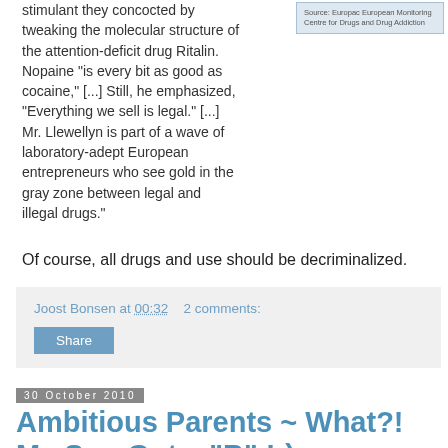stimulant they concocted by tweaking the molecular structure of the attention-deficit drug Ritalin. Nopaine "is every bit as good as cocaine," [...] Still, he emphasized, "Everything we sell is legal." [...] Mr. Llewellyn is part of a wave of laboratory-adept European entrepreneurs who see gold in the gray zone between legal and illegal drugs."
[Figure (screenshot): Screenshot thumbnail with text: Source: Europac European Monitoring Centre for Drugs and Drug Addiction]
Of course, all drugs and use should be decriminalized.
Joost Bonsen at 00:32    2 comments:
Share
30 October 2010
Ambitious Parents ~ What?! My Son Got a "B" !-)
Probably stereotypical, perhaps offensive, but still funny;-)